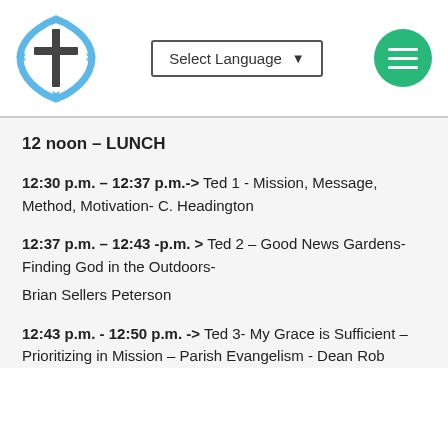Church website header with logo, Select Language button, and menu icon
12 noon – LUNCH
12:30 p.m. – 12:37 p.m.-> Ted 1  - Mission, Message, Method, Motivation- C. Headington
12:37 p.m. – 12:43 -p.m. > Ted 2 – Good News Gardens- Finding God in the Outdoors- Brian Sellers Peterson
12:43 p.m. - 12:50 p.m. -> Ted 3- My Grace is Sufficient – Prioritizing in Mission – Parish Evangelism - Dean Rob